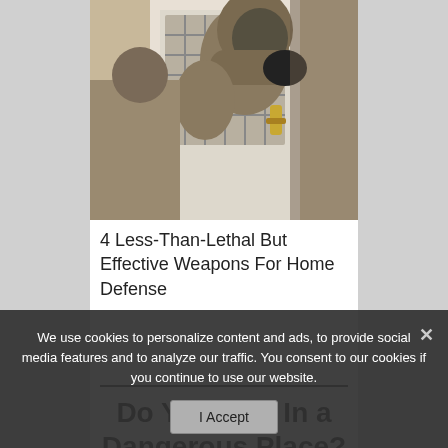[Figure (photo): A person wearing a dark hoodie and black gloves attempting to break into a door with a handle, from behind/side angle. The door has a decorative grill/window panel.]
4 Less-Than-Lethal But Effective Weapons For Home Defense
Do You Live In a Dangerous Place?
We use cookies to personalize content and ads, to provide social media features and to analyze our traffic. You consent to our cookies if you continue to use our website.
I Accept